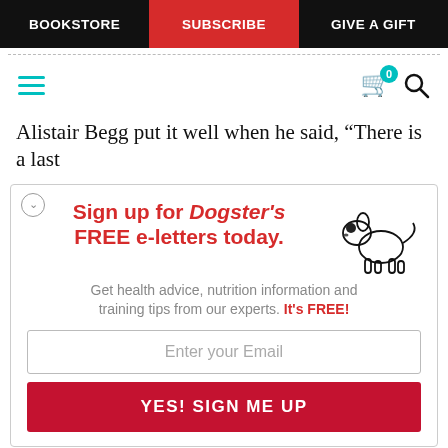BOOKSTORE | SUBSCRIBE | GIVE A GIFT
[Figure (screenshot): Navigation bar with hamburger menu, cart icon with badge showing 0, and search icon]
Alistair Begg put it well when he said, “There is a last
[Figure (infographic): Dogster newsletter signup popup with dog illustration. Headline: Sign up for Dogster's FREE e-letters today. Subtext: Get health advice, nutrition information and training tips from our experts. It's FREE! Email input field and YES! SIGN ME UP button.]